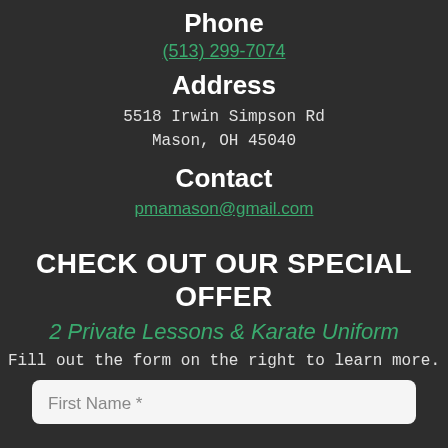Phone
(513) 299-7074
Address
5518 Irwin Simpson Rd
Mason, OH 45040
Contact
pmamason@gmail.com
CHECK OUT OUR SPECIAL OFFER
2 Private Lessons & Karate Uniform
Fill out the form on the right to learn more.
First Name *